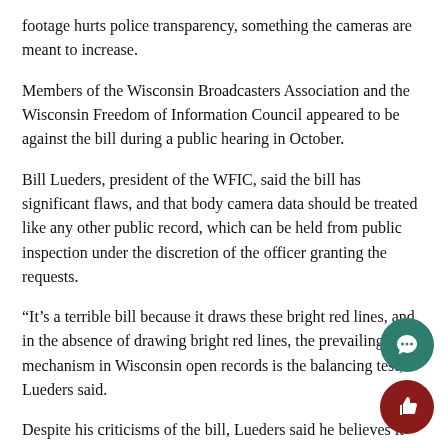footage hurts police transparency, something the cameras are meant to increase.
Members of the Wisconsin Broadcasters Association and the Wisconsin Freedom of Information Council appeared to be against the bill during a public hearing in October.
Bill Lueders, president of the WFIC, said the bill has significant flaws, and that body camera data should be treated like any other public record, which can be held from public inspection under the discretion of the officer granting the requests.
“It’s a terrible bill because it draws these bright red lines, and in the absence of drawing bright red lines, the prevailing mechanism in Wisconsin open records is the balancing test,” Lueders said.
Despite his criticisms of the bill, Lueders said he believes it will
Wisconsin is the not the only state writing this kind of legislation. Twenty-six states already have laws that in some way restrict ac body camera footage, and that doesn’t include the number of st